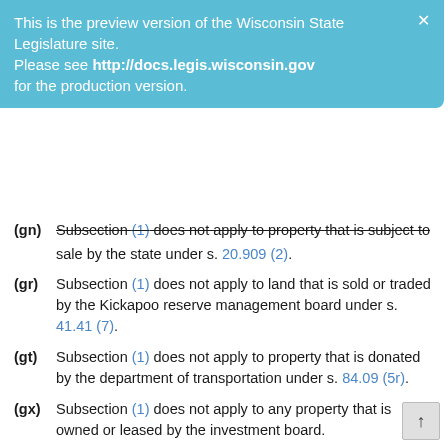[Figure (other): Preview banner: 'This is the preview version of the Wisconsin State Legislature site. Please see http://docs.legis.wisconsin.gov for the production version.' with close X button.]
(gn) Subsection (1) does not apply to property that is subject to sale by the state under s. 20.909 (2).
(gr) Subsection (1) does not apply to land that is sold or traded by the Kickapoo reserve management board under s. 41.41 (7).
(gt) Subsection (1) does not apply to property that is donated by the department of transportation under s. 84.09 (5r).
(gx) Subsection (1) does not apply to any property that is owned or leased by the investment board.
(h) The department shall not sell any property under this section that is leased by the state until the lease expires or the lease is modified, renewed, or extended, whichever first occurs, without consent of the lessee.
(i) Subsection (1) does not apply to property that is traded by the department under sub. (5).
(4)
(a) Except as provided in s. 13.48 (14) (e), if there is any outstanding public debt used to finance the acquisition,